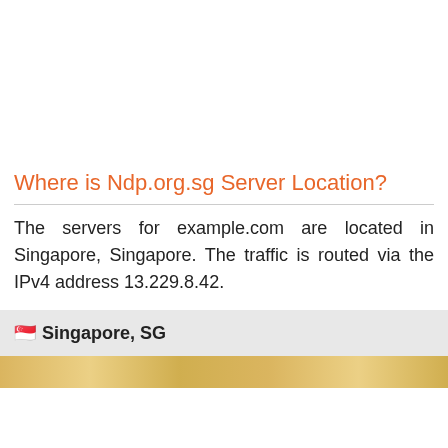Where is Ndp.org.sg Server Location?
The servers for example.com are located in Singapore, Singapore. The traffic is routed via the IPv4 address 13.229.8.42.
🇸🇬 Singapore, SG